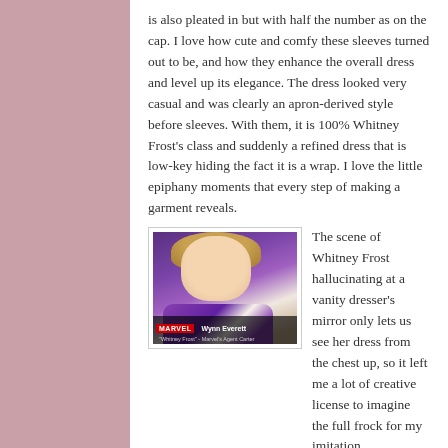is also pleated in but with half the number as on the cap.  I love how cute and comfy these sleeves turned out to be, and how they enhance the overall dress and level up its elegance.  The dress looked very casual and was clearly an apron-derived style before sleeves.  With them, it is 100% Whitney Frost's class and suddenly a refined dress that is low-key hiding the fact it is a wrap.  I love the little epiphany moments that every step of making a garment reveals.
[Figure (photo): A woman with curly blonde hair wearing a purple and white floral dress, shown from chest up. A MARVEL banner at the bottom reads 'Wynn Everett' with subtitle 'Whitney Frost - Marvel's Agent Carter'.]
The scene of Whitney Frost hallucinating at a vanity dresser's mirror only lets us see her dress from the chest up, so it left me a lot of creative license to imagine the full frock for my imitation.  I ended up primarily basing my dress off of similar extant dresses, content with only a strong reference my inspiration garment.  However, I found an